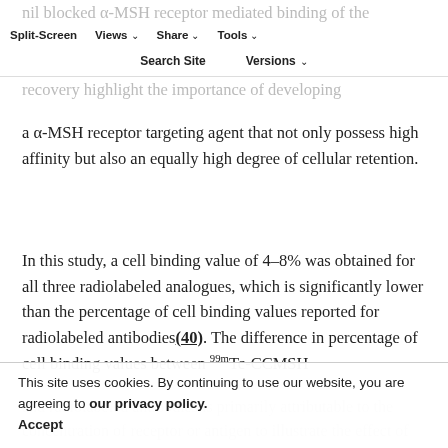nil blocked α-MSH receptor mediated binding of the iodinated analogues, demonstrating the high activity receptor for its cognate ligand. Receptor internalization and slow recovery highlight the importance of developing a α-MSH receptor targeting agent that not only possess high affinity but also an equally high degree of cellular retention.
In this study, a cell binding value of 4–8% was obtained for all three radiolabeled analogues, which is significantly lower than the percentage of cell binding values reported for radiolabeled antibodies(40). The difference in percentage of cell binding values between 99mTc-CCMSH and radiolabeled antibodies is primarily attributable to the concentration of receptor or antigen to illustrate the effect of receptor concentration on the binding capacity, the binding fraction (1/r) of 125I-(Tyr2)-NDP to B16/F1 cells was
This site uses cookies. By continuing to use our website, you are agreeing to our privacy policy. Accept